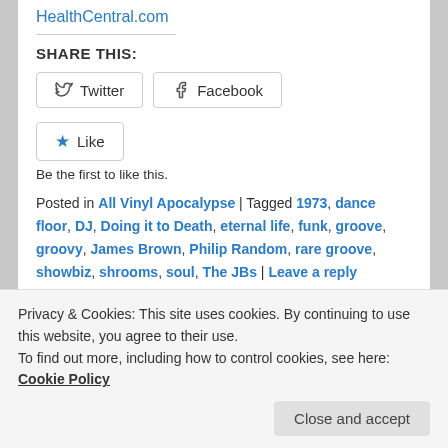HealthCentral.com
SHARE THIS:
[Figure (other): Twitter and Facebook share buttons]
[Figure (other): Like button with star icon]
Be the first to like this.
Posted in All Vinyl Apocalypse | Tagged 1973, dance floor, DJ, Doing it to Death, eternal life, funk, groove, groovy, James Brown, Philip Random, rare groove, showbiz, shrooms, soul, The JBs | Leave a reply
Privacy & Cookies: This site uses cookies. By continuing to use this website, you agree to their use.
To find out more, including how to control cookies, see here: Cookie Policy